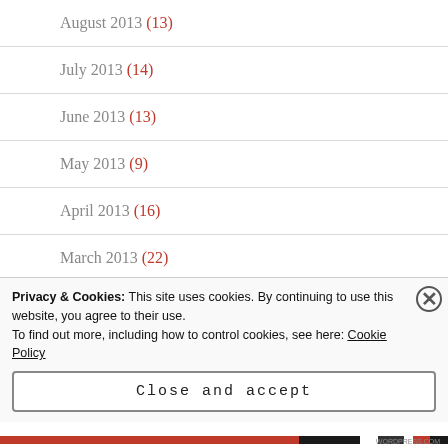August 2013 (13)
July 2013 (14)
June 2013 (13)
May 2013 (9)
April 2013 (16)
March 2013 (22)
February 2013 (18)
Privacy & Cookies: This site uses cookies. By continuing to use this website, you agree to their use.
To find out more, including how to control cookies, see here: Cookie Policy
Close and accept